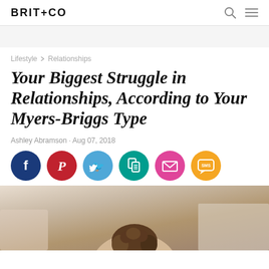BRIT+CO
Lifestyle > Relationships
Your Biggest Struggle in Relationships, According to Your Myers-Briggs Type
Ashley Abramson · Aug 07, 2018
[Figure (infographic): Social sharing buttons: Facebook (dark blue), Pinterest (red), Twitter (light blue), Copy link (teal), Email (pink/magenta), SMS (orange)]
[Figure (photo): Partial photo of a person with curly hair viewed from behind/side, wearing light colored clothing]